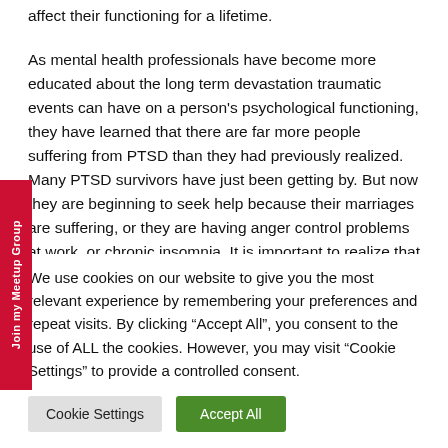affect their functioning for a lifetime.
As mental health professionals have become more educated about the long term devastation traumatic events can have on a person's psychological functioning, they have learned that there are far more people suffering from PTSD than they had previously realized. Many PTSD survivors have just been getting by. But now they are beginning to seek help because their marriages are suffering, or they are having anger control problems at work, or chronic insomnia. It is important to realize that
We use cookies on our website to give you the most relevant experience by remembering your preferences and repeat visits. By clicking "Accept All", you consent to the use of ALL the cookies. However, you may visit "Cookie Settings" to provide a controlled consent.